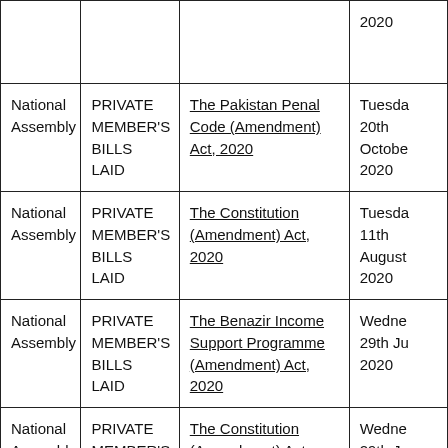| Assembly | Type | Act/Bill | Date |
| --- | --- | --- | --- |
|  |  |  | 2020 |
| National Assembly | PRIVATE MEMBER'S BILLS LAID | The Pakistan Penal Code (Amendment) Act, 2020 | Tuesday 20th October 2020 |
| National Assembly | PRIVATE MEMBER'S BILLS LAID | The Constitution (Amendment) Act, 2020 | Tuesday 11th August 2020 |
| National Assembly | PRIVATE MEMBER'S BILLS LAID | The Benazir Income Support Programme (Amendment) Act, 2020 | Wednesday 29th July 2020 |
| National Assembly | PRIVATE MEMBER'S | The Constitution (Amendment) Act, | Wednesday 29th Ju |